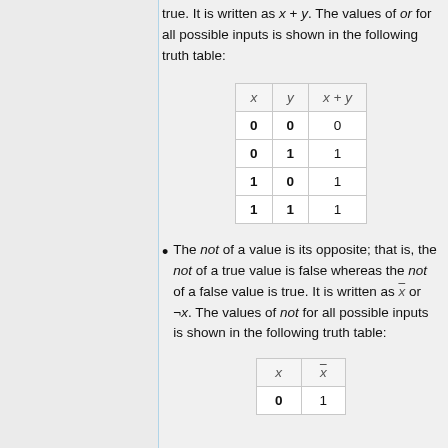true. It is written as x + y. The values of or for all possible inputs is shown in the following truth table:
| x | y | x + y |
| --- | --- | --- |
| 0 | 0 | 0 |
| 0 | 1 | 1 |
| 1 | 0 | 1 |
| 1 | 1 | 1 |
The not of a value is its opposite; that is, the not of a true value is false whereas the not of a false value is true. It is written as x̄ or ¬x. The values of not for all possible inputs is shown in the following truth table:
| x | x̄ |
| --- | --- |
| 0 | 1 |